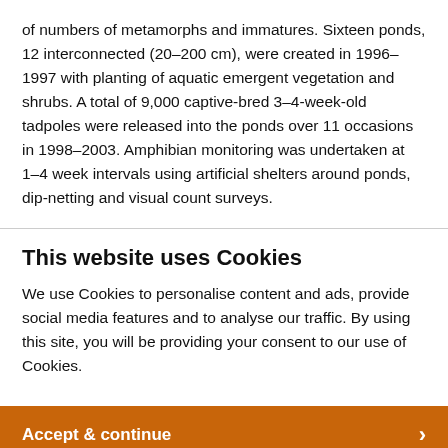of numbers of metamorphs and immatures. Sixteen ponds, 12 interconnected (20–200 cm), were created in 1996–1997 with planting of aquatic emergent vegetation and shrubs. A total of 9,000 captive-bred 3–4-week-old tadpoles were released into the ponds over 11 occasions in 1998–2003. Amphibian monitoring was undertaken at 1–4 week intervals using artificial shelters around ponds, dip-netting and visual count surveys.
This website uses Cookies
We use Cookies to personalise content and ads, provide social media features and to analyse our traffic. By using this site, you will be providing your consent to our use of Cookies.
Accept & continue ›